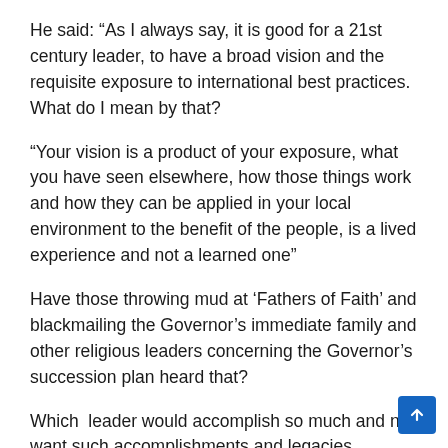He said: “As I always say, it is good for a 21st century leader, to have a broad vision and the requisite exposure to international best practices. What do I mean by that?
“Your vision is a product of your exposure, what you have seen elsewhere, how those things work and how they can be applied in your local environment to the benefit of the people, is a lived experience and not a learned one”
Have those throwing mud at ‘Fathers of Faith’ and blackmailing the Governor’s immediate family and other religious leaders concerning the Governor’s succession plan heard that?
Which  leader would accomplish so much and not want such accomplishments and legacies sustained through a